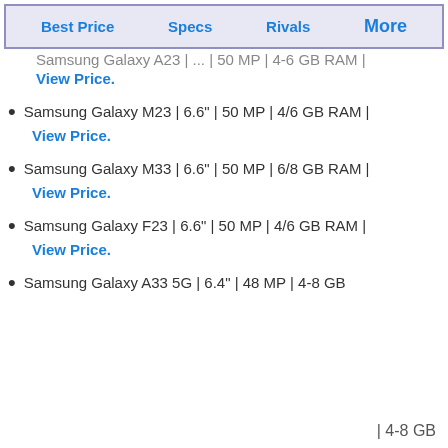Best Price | Specs | Rivals | More
Samsung Galaxy A23 | ... | 50 MP | 4-6 GB RAM | View Price.
Samsung Galaxy M23 | 6.6" | 50 MP | 4/6 GB RAM | View Price.
Samsung Galaxy M33 | 6.6" | 50 MP | 6/8 GB RAM | View Price.
Samsung Galaxy F23 | 6.6" | 50 MP | 4/6 GB RAM | View Price.
Samsung Galaxy A33 5G | 6.4" | 48 MP | 4-8 GB
| 4-8 GB